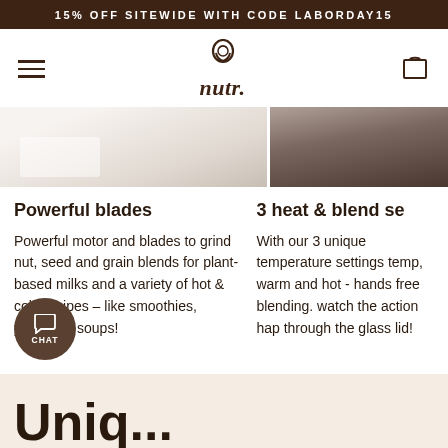15% OFF SITEWIDE WITH CODE LABORDAY15
[Figure (logo): nutr. brand logo with jar/bottle icon above the text]
[Figure (photo): Two side-by-side product/lifestyle photos cropped at top — left shows white/light surface, right shows darker product detail]
Powerful blades
Powerful motor and blades to grind nut, seed and grain blends for plant-based milks and a variety of hot & cold recipes – like smoothies, yogurts & soups!
3 heat & blend se
With our 3 unique temperature settings temp, warm and hot - hands free blending. watch the action hap through the glass lid!
[Figure (illustration): Chat button circle with speech bubble icon and CHAT label]
Uniq...